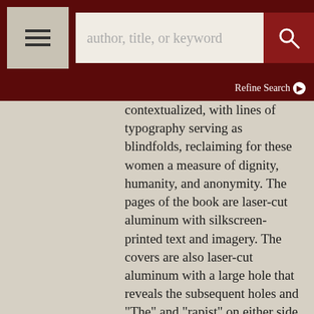author, title, or keyword | Refine Search
contextualized, with lines of typography serving as blindfolds, reclaiming for these women a measure of dignity, humanity, and anonymity. The pages of the book are laser-cut aluminum with silkscreen-printed text and imagery. The covers are also laser-cut aluminum with a large hole that reveals the subsequent holes and "The" and "rapist" on either side of the cover's hole. The pages are attached to the cover by two ring binders. Housed in an aluminum box with a metal title label affixed to the top. In fine condition. 16 pages. 24" x 9" x 1" open 12" x 9" x 1 closed. ARTISTSB/100419. Fine. More >